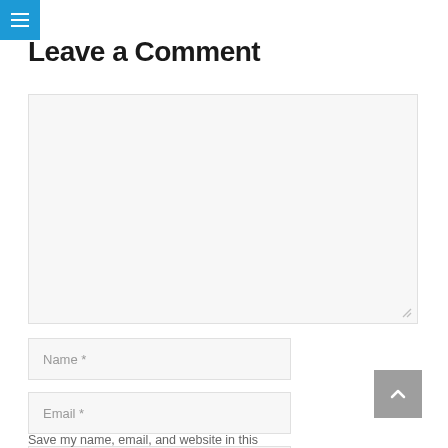≡ (navigation menu icon)
Leave a Comment
[Figure (other): Large comment text area input box with light gray background and resize handle]
Name *
Email *
Website
Save my name, email, and website in this